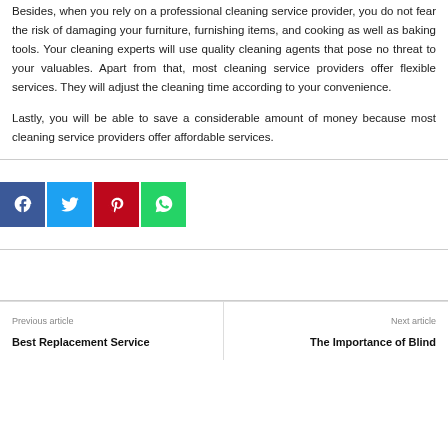Besides, when you rely on a professional cleaning service provider, you do not fear the risk of damaging your furniture, furnishing items, and cooking as well as baking tools. Your cleaning experts will use quality cleaning agents that pose no threat to your valuables. Apart from that, most cleaning service providers offer flexible services. They will adjust the cleaning time according to your convenience.
Lastly, you will be able to save a considerable amount of money because most cleaning service providers offer affordable services.
[Figure (infographic): Social share buttons: Facebook (blue), Twitter (light blue), Pinterest (red), WhatsApp (green)]
Previous article
Best Replacement Service
Next article
The Importance of Blind